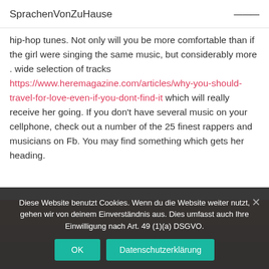SprachenVonZuHause
hip-hop tunes. Not only will you be more comfortable than if the girl were singing the same music, but considerably more . wide selection of tracks https://www.heremagazine.com/articles/why-you-should-travel-for-love-even-if-you-dont-find-it which will really receive her going. If you don't have several music on your cellphone, check out a number of the 25 finest rappers and musicians on Fb. You may find something which gets her heading.
[Figure (photo): Partially visible image with orange/brown tones at the bottom of the page]
Diese Website benutzt Cookies. Wenn du die Website weiter nutzt, gehen wir von deinem Einverständnis aus. Dies umfasst auch Ihre Einwilligung nach Art. 49 (1)(a) DSGVO.
OK   Datenschutzerklärung